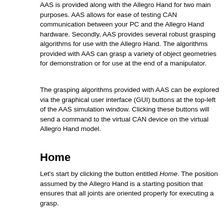AAS is provided along with the Allegro Hand for two main purposes. AAS allows for ease of testing CAN communication between your PC and the Allegro Hand hardware. Secondly, AAS provides several robust grasping algorithms for use with the Allegro Hand. The algorithms provided with AAS can grasp a variety of object geometries for demonstration or for use at the end of a manipulator.
The grasping algorithms provided with AAS can be explored via the graphical user interface (GUI) buttons at the top-left of the AAS simulation window. Clicking these buttons will send a command to the virtual CAN device on the virtual Allegro Hand model.
Home
Let's start by clicking the button entitled Home. The position assumed by the Allegro Hand is a starting position that ensures that all joints are oriented properly for executing a grasp.
Ready
Click the buttons entitled Ready to prepare for each type of grasping motion.
Note: For the virtual hand, you will notice the finger joints sagging if left in ready mode too long. As the finger tip locations are controlled, all joint angles do not necessarily matter. Due to the lack of friction found in the actual system, the ready position does not remain